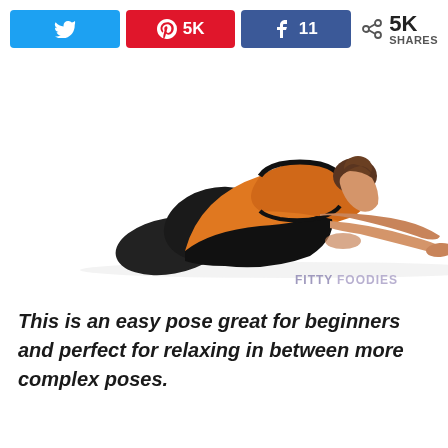[Figure (other): Social share bar with Twitter, Pinterest (5K), Facebook (11), and share count (5K SHARES) buttons]
[Figure (photo): Woman in yoga child's pose (balasana), wearing orange top and black pants, arms stretched forward on white background. FITTYFOODIES watermark in bottom right.]
This is an easy pose great for beginners and perfect for relaxing in between more complex poses.